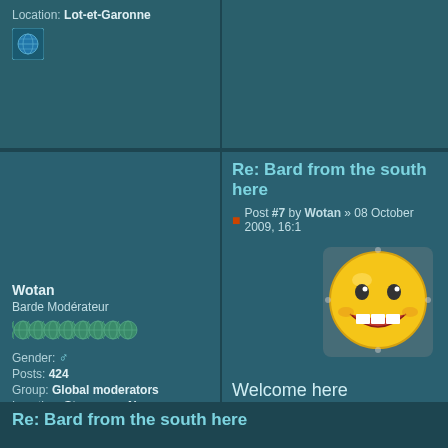Location: Lot-et-Garonne
[Figure (screenshot): Globe/website icon button]
Re: Bard from the south here
Post #7 by Wotan » 08 October 2009, 16:1
[Figure (illustration): Large grinning smiley face emoji with yellow color and decorative border]
Welcome here
Site de fan sur Enslaved
Mon LastFM
Mon RateYourMusic
Wotan
Barde Modérateur
[Figure (illustration): Row of rank icons (globe/world icons x8)]
Gender: ♂
Posts: 424
Group: Global moderators
Location: Stavanger, Norvege
[Figure (screenshot): Globe/website icon button]
Re: Bard from the south here